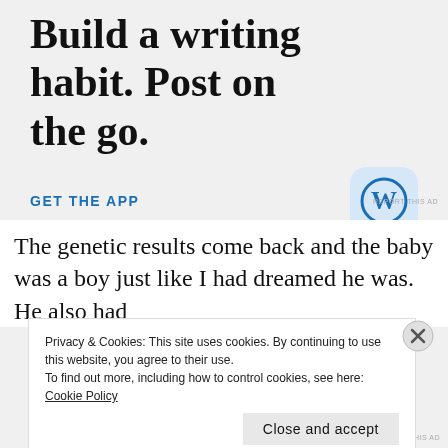Build a writing habit. Post on the go.
GET THE APP
[Figure (logo): WordPress app icon — blue circle W logo on light blue rounded square background]
REPORT THIS AD
The genetic results come back and the baby was a boy just like I had dreamed he was. He also had
Privacy & Cookies: This site uses cookies. By continuing to use this website, you agree to their use.
To find out more, including how to control cookies, see here: Cookie Policy
Close and accept
REPORT THIS AD